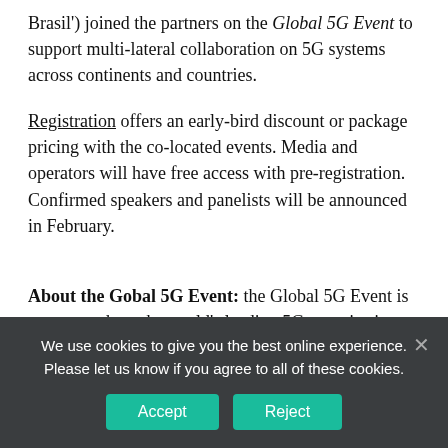Brasil') joined the partners on the Global 5G Event to support multi-lateral collaboration on 5G systems across continents and countries.
Registration offers an early-bird discount or package pricing with the co-located events. Media and operators will have free access with pre-registration. Confirmed speakers and panelists will be announced in February.
About the Gobal 5G Event: the Global 5G Event is an event where the world's leading 5G organisations discuss the latest research and development achievements and discuss 5G technology next steps and predictions.
We use cookies to give you the best online experience. Please let us know if you agree to all of these cookies.